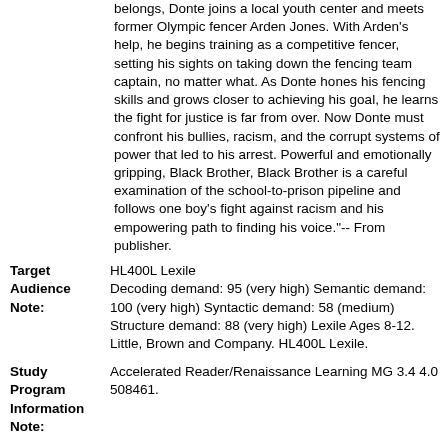belongs, Donte joins a local youth center and meets former Olympic fencer Arden Jones. With Arden's help, he begins training as a competitive fencer, setting his sights on taking down the fencing team captain, no matter what. As Donte hones his fencing skills and grows closer to achieving his goal, he learns the fight for justice is far from over. Now Donte must confront his bullies, racism, and the corrupt systems of power that led to his arrest. Powerful and emotionally gripping, Black Brother, Black Brother is a careful examination of the school-to-prison pipeline and follows one boy's fight against racism and his empowering path to finding his voice."-- From publisher.
Target Audience Note: HL400L Lexile Decoding demand: 95 (very high) Semantic demand: 100 (very high) Syntactic demand: 58 (medium) Structure demand: 88 (very high) Lexile Ages 8-12. Little, Brown and Company. HL400L Lexile.
Study Program Information Note: Accelerated Reader/Renaissance Learning MG 3.4 4.0 508461.
Additional Physical Form: Also available in electronic format.